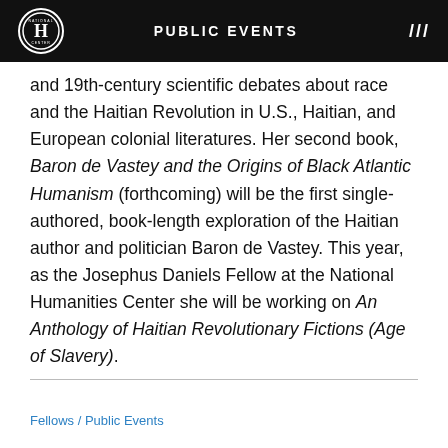PUBLIC EVENTS
and 19th-century scientific debates about race and the Haitian Revolution in U.S., Haitian, and European colonial literatures. Her second book, Baron de Vastey and the Origins of Black Atlantic Humanism (forthcoming) will be the first single-authored, book-length exploration of the Haitian author and politician Baron de Vastey. This year, as the Josephus Daniels Fellow at the National Humanities Center she will be working on An Anthology of Haitian Revolutionary Fictions (Age of Slavery).
Fellows / Public Events